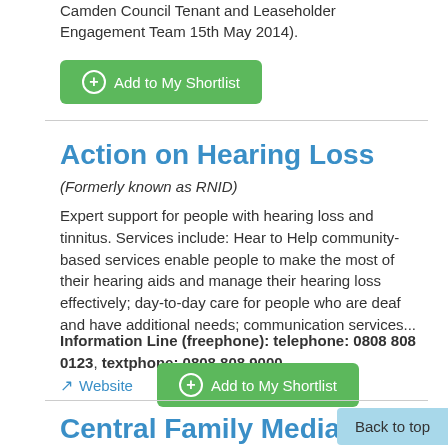Camden Council Tenant and Leaseholder Engagement Team 15th May 2014).
+ Add to My Shortlist
Action on Hearing Loss
(Formerly known as RNID)
Expert support for people with hearing loss and tinnitus. Services include: Hear to Help community-based services enable people to make the most of their hearing aids and manage their hearing loss effectively; day-to-day care for people who are deaf and have additional needs; communication services...
Information Line (freephone): telephone: 0808 808 0123, textphone: 0808 808 9000
Website   + Add to My Shortlist
Central Family Mediation
Back to top